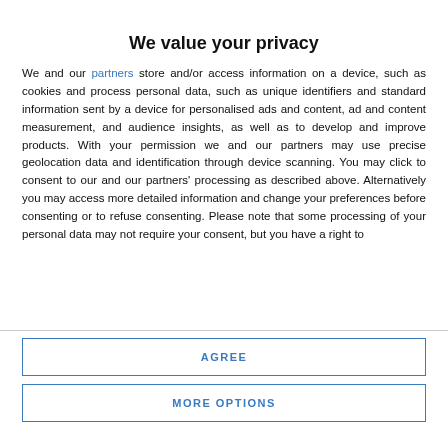We value your privacy
We and our partners store and/or access information on a device, such as cookies and process personal data, such as unique identifiers and standard information sent by a device for personalised ads and content, ad and content measurement, and audience insights, as well as to develop and improve products. With your permission we and our partners may use precise geolocation data and identification through device scanning. You may click to consent to our and our partners' processing as described above. Alternatively you may access more detailed information and change your preferences before consenting or to refuse consenting. Please note that some processing of your personal data may not require your consent, but you have a right to
AGREE
MORE OPTIONS
The series of justifications that her